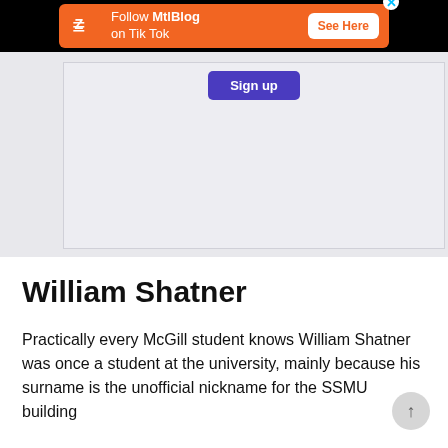[Figure (screenshot): Orange advertisement banner for MtlBlog on TikTok with a white 'See Here' button and a close (x) icon, displayed on a black background bar at the top of the page.]
[Figure (screenshot): A light gray placeholder image area showing a purple button partially visible at the top, representing a partially scrolled image or embedded content area.]
William Shatner
Practically every McGill student knows William Shatner was once a student at the university, mainly because his surname is the unofficial nickname for the SSMU building.